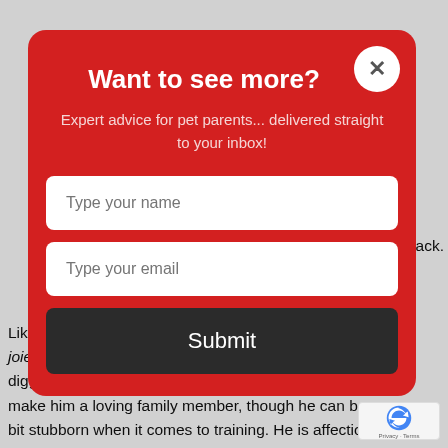Like most terriers, the Cairn Terrier is an active dog, full of joie de vivre. He loves to play outside, and can be a bit of a digger in the yard. An affectionate nature and kind heart make him a loving family member, though he can become a bit stubborn when it comes to training. He is affection...
[Figure (screenshot): Email subscription modal overlay on a red background with title 'Want to see more?', subtitle 'Expert advice for pet parents... delivered straight to your inbox!', name input field, email input field, and Submit button. A white X close button appears in the top right corner of the modal.]